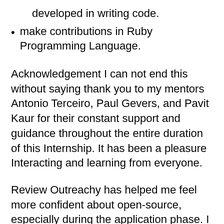developed in writing code.
make contributions in Ruby Programming Language.
Acknowledgement I can not end this without saying thank you to my mentors Antonio Terceiro, Paul Gevers, and Pavit Kaur for their constant support and guidance throughout the entire duration of this Internship. It has been a pleasure Interacting and learning from everyone.
Review Outreachy has helped me feel more confident about open-source, especially during the application phase. I had to reach out to the community I was interested in and ask questions on how to get started. The informal chats week was